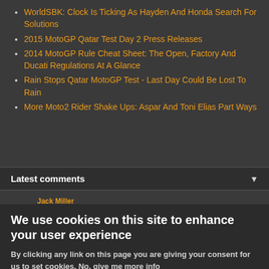WorldSBK: Clock Is Ticking As Hayden And Honda Search For Solutions
2015 MotoGP Qatar Test Day 2 Press Releases
2014 MotoGP Rule Cheat Sheet: The Open, Factory And Ducati Regulations At A Glance
Rain Stops Qatar MotoGP Test - Last Day Could Be Lost To Rain
More Moto2 Rider Shake Ups: Aspar And Toni Elias Part Ways
Latest comments
Jack Miller
We use cookies on this site to enhance your user experience
By clicking any link on this page you are giving your consent for us to set cookies. No, give me more info
OK, I agree